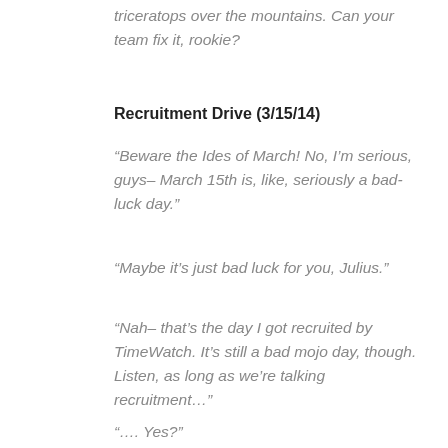triceratops over the mountains. Can your team fix it, rookie?
Recruitment Drive (3/15/14)
“Beware the Ides of March! No, I’m serious, guys– March 15th is, like, seriously a bad-luck day.”
“Maybe it’s just bad luck for you, Julius.”
“Nah– that’s the day I got recruited by TimeWatch. It’s still a bad mojo day, though. Listen, as long as we’re talking recruitment…”
“…. Yes?”